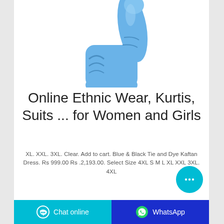[Figure (photo): Blue latex/nitrile gloved hand giving a thumbs-up gesture on white background]
Online Ethnic Wear, Kurtis, Suits ... for Women and Girls
XL. XXL. 3XL. Clear. Add to cart. Blue & Black Tie and Dye Kaftan Dress. Rs 999.00 Rs .2,193.00. Select Size 4XL S M L XL XXL 3XL. 4XL
[Figure (other): Cyan circular chat bubble button with three dots (ellipsis)]
Chat online   WhatsApp